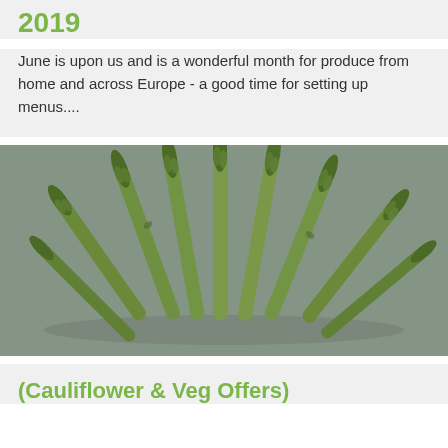2019
June is upon us and is a wonderful month for produce from home and across Europe - a good time for setting up menus....
[Figure (photo): Photograph of fresh green asparagus spears bundled together on a grey background]
(Cauliflower & Veg Offers)